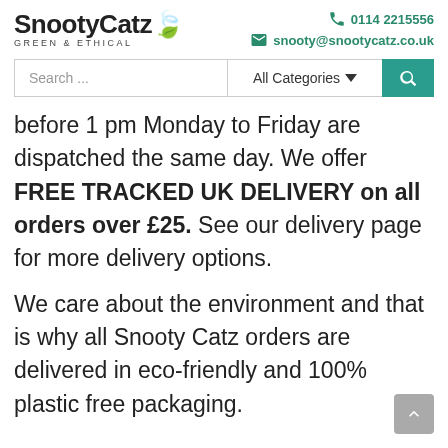SnootyCatz GREEN & ETHICAL | 0114 2215556 | snooty@snootycatz.co.uk
[Figure (screenshot): Search bar with 'Search ...' input field, 'All Categories' dropdown, and teal search button with magnifying glass icon]
before 1 pm Monday to Friday are dispatched the same day. We offer FREE TRACKED UK DELIVERY on all orders over £25. See our delivery page for more delivery options.
We care about the environment and that is why all Snooty Catz orders are delivered in eco-friendly and 100% plastic free packaging.